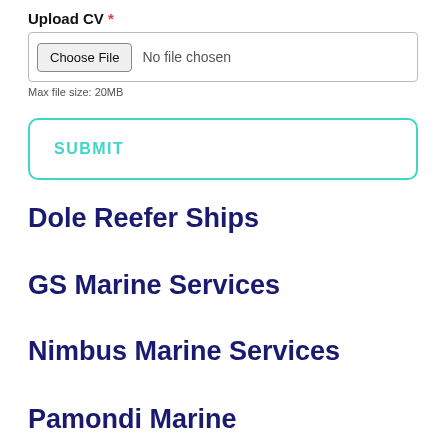Upload CV *
[Figure (screenshot): File upload input with Choose File button and 'No file chosen' placeholder text]
Max file size: 20MB
SUBMIT
Dole Reefer Ships
GS Marine Services
Nimbus Marine Services
Pamondi Marine